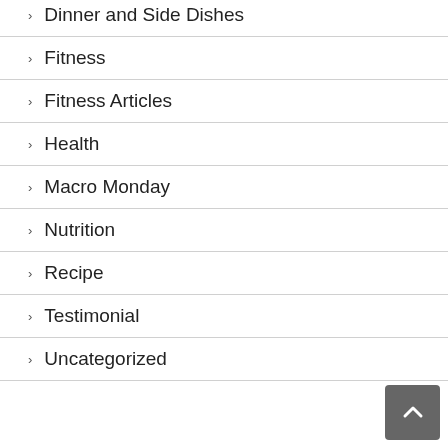Dinner and Side Dishes
Fitness
Fitness Articles
Health
Macro Monday
Nutrition
Recipe
Testimonial
Uncategorized